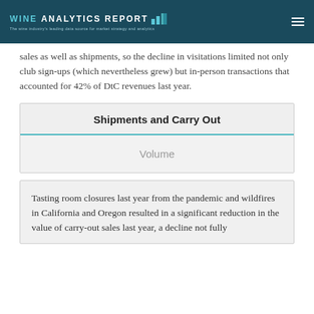WINE ANALYTICS REPORT — The wine industry's leading data source for market strategy and analytics
sales as well as shipments, so the decline in visitations limited not only club sign-ups (which nevertheless grew) but in-person transactions that accounted for 42% of DtC revenues last year.
Shipments and Carry Out
Volume
Tasting room closures last year from the pandemic and wildfires in California and Oregon resulted in a significant reduction in the value of carry-out sales last year, a decline not fully